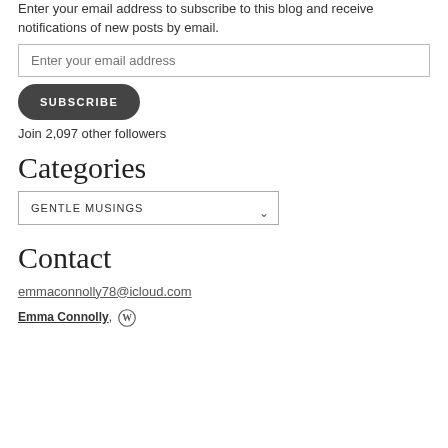Enter your email address to subscribe to this blog and receive notifications of new posts by email.
Enter your email address
SUBSCRIBE
Join 2,097 other followers
Categories
GENTLE MUSINGS
Contact
emmaconnolly78@icloud.com
Emma Connolly,